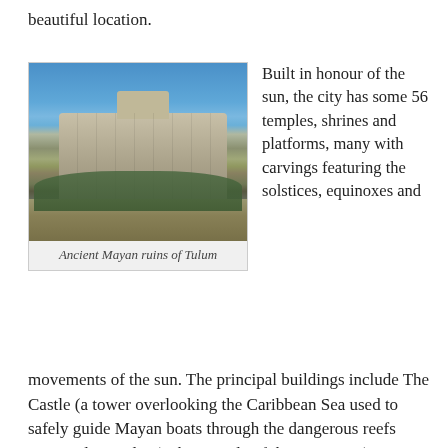beautiful location.
[Figure (photo): Photograph of the ancient Mayan ruins of Tulum against a blue sky, with green trees and grass in the foreground.]
Ancient Mayan ruins of Tulum
Built in honour of the sun, the city has some 56 temples, shrines and platforms, many with carvings featuring the solstices, equinoxes and movements of the sun. The principal buildings include The Castle (a tower overlooking the Caribbean Sea used to safely guide Mayan boats through the dangerous reefs surrounding Tulum), the Temple of the Frescoes (an outstanding collection of Toltec wall paintings), and the Temple of the Wind (a small sanctuary overlooking the bay built in honour of Ehecatl, god